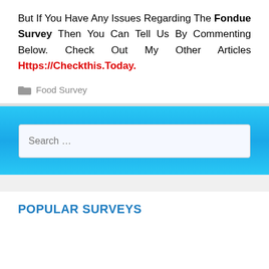But If You Have Any Issues Regarding The Fondue Survey Then You Can Tell Us By Commenting Below. Check Out My Other Articles Https://Checkthis.Today.
Food Survey
[Figure (screenshot): Search box input field with placeholder text 'Search ...' on a blue gradient background]
POPULAR SURVEYS